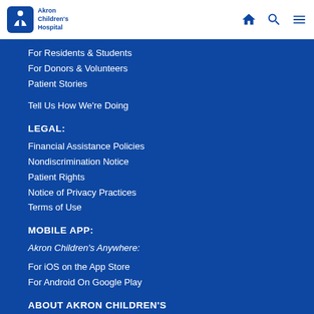Akron Children's Hospital
For Residents & Students
For Donors & Volunteers
Patient Stories
Tell Us How We're Doing
LEGAL:
Financial Assistance Policies
Nondiscrimination Notice
Patient Rights
Notice of Privacy Practices
Terms of Use
MOBILE APP:
Akron Children's Anywhere:
For iOS on the App Store
For Android On Google Play
ABOUT AKRON CHILDREN'S
While we are ranked among the best children's hospitals in